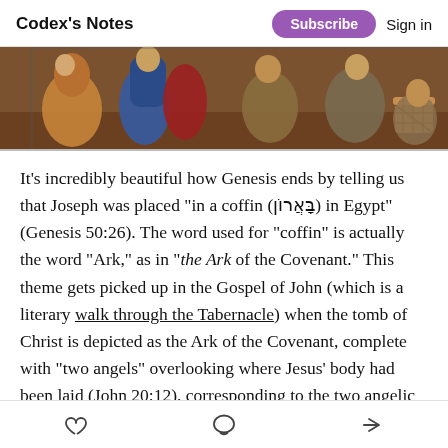Codex's Notes  Subscribe  Sign in
[Figure (illustration): A horizontal banner image showing a Byzantine or Orthodox icon-style painting. Figures in robes are depicted on a brown/golden background. Left side shows robed figures, right side shows additional figures near what appears to be a basket or vessel.]
It's incredibly beautiful how Genesis ends by telling us that Joseph was placed "in a coffin (בָּאֲרוֹן) in Egypt" (Genesis 50:26). The word used for "coffin" is actually the word "Ark," as in "the Ark of the Covenant." This theme gets picked up in the Gospel of John (which is a literary walk through the Tabernacle) when the tomb of Christ is depicted as the Ark of the Covenant, complete with "two angels" overlooking where Jesus' body had been laid (John 20:12), corresponding to the two angelic statues that overlooked the Ark (Exodus 25:18). And
♡  ○  ➤